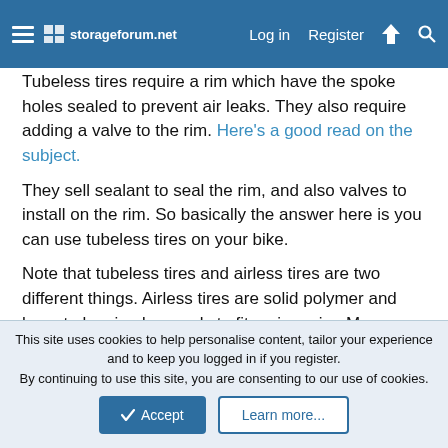storageforum.net — Log in  Register
Tubeless tires require a rim which have the spoke holes sealed to prevent air leaks. They also require adding a valve to the rim. Here's a good read on the subject.
They sell sealant to seal the rim, and also valves to install on the rim. So basically the answer here is you can use tubeless tires on your bike.
Note that tubeless tires and airless tires are two different things. Airless tires are solid polymer and have to be sized properly to fit a given rim. Measure the inner width of the rim to determine which airless tires would fit. I suspect based on the size tires you're using that you could use the same tires I'm using but I could be wrong. The rim could also be slightly too wide inside and you might instead need these or these.
This site uses cookies to help personalise content, tailor your experience and to keep you logged in if you register.
By continuing to use this site, you are consenting to our use of cookies.